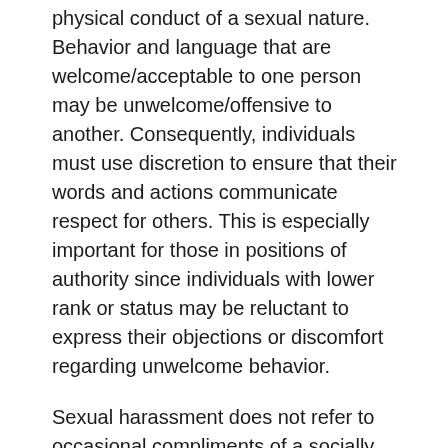physical conduct of a sexual nature. Behavior and language that are welcome/acceptable to one person may be unwelcome/offensive to another. Consequently, individuals must use discretion to ensure that their words and actions communicate respect for others. This is especially important for those in positions of authority since individuals with lower rank or status may be reluctant to express their objections or discomfort regarding unwelcome behavior.
Sexual harassment does not refer to occasional compliments of a socially acceptable nature. It refers to behavior that is not welcome, is personally offensive, debilitates morale, and therefore, interferes with work effectiveness. The following are examples of behavior that, when unwelcome, may constitute sexual harassment: sexual flirtations, advances, or propositions; verbal comments or physical actions of a sexual nature; sexually degrading words used to describe an individual;